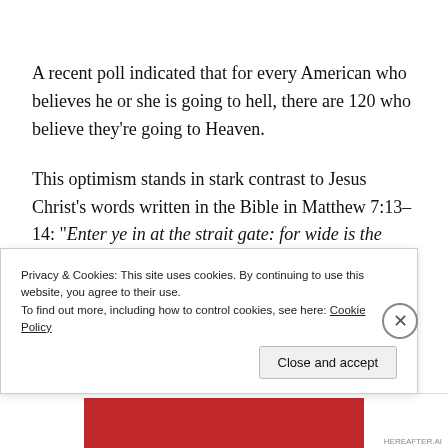A recent poll indicated that for every American who believes he or she is going to hell, there are 120 who believe they’re going to Heaven.
This optimism stands in stark contrast to Jesus Christ’s words written in the Bible in Matthew 7:13–14: “Enter ye in at the strait gate: for wide is the gate, and broad is the…”
Privacy & Cookies: This site uses cookies. By continuing to use this website, you agree to their use.
To find out more, including how to control cookies, see here: Cookie Policy